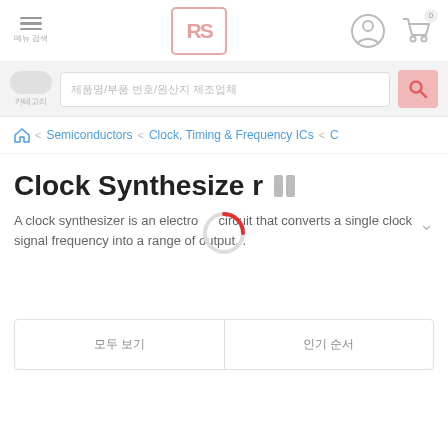[Figure (logo): RS Components logo - pink/red RS letters in bordered box]
[Figure (screenshot): Navigation header with hamburger menu, RS logo, user icon, and cart icon with badge 0]
[Figure (screenshot): Search bar with all-categories pill button and search input field]
Semiconductors < Clock, Timing & Frequency ICs < C
Clock Synthesizer 일시정지
A clock synthesizer is an electronic circuit that converts a single clock signal frequency into a range of output...
[Figure (other): Loading spinner - circular indicator with red arc segment]
모두 보기 | 인기 순서